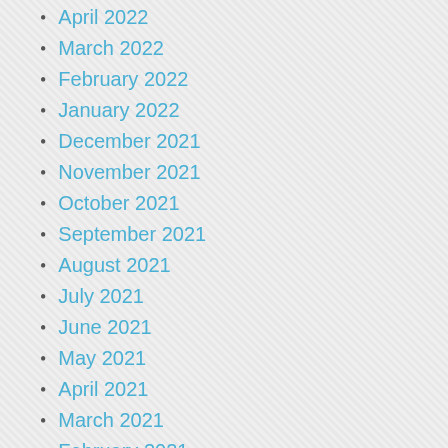April 2022
March 2022
February 2022
January 2022
December 2021
November 2021
October 2021
September 2021
August 2021
July 2021
June 2021
May 2021
April 2021
March 2021
February 2021
January 2021
December 2020
November 2020
October 2020
September 2020